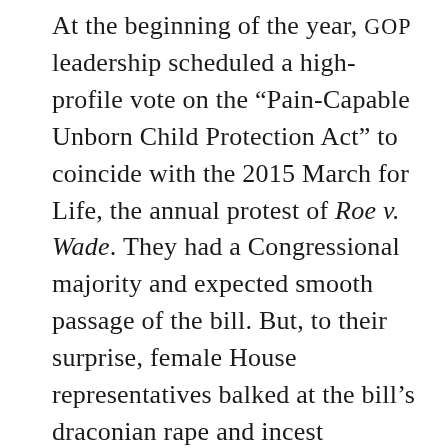At the beginning of the year, GOP leadership scheduled a high-profile vote on the “Pain-Capable Unborn Child Protection Act” to coincide with the 2015 March for Life, the annual protest of Roe v. Wade. They had a Congressional majority and expected smooth passage of the bill. But, to their surprise, female House representatives balked at the bill’s draconian rape and incest exemption, which would have forced survivors to file a police report before they could access an abortion. The Republican dissenters—primarily women, joined by a couple of moderate male allies—thought the provision was tone-deaf and would turn